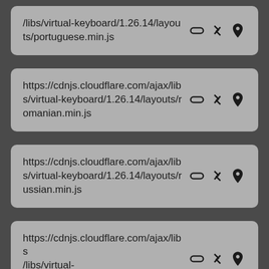/libs/virtual-keyboard/1.26.14/layouts/portuguese.min.js
https://cdnjs.cloudflare.com/ajax/libs/virtual-keyboard/1.26.14/layouts/romanian.min.js
https://cdnjs.cloudflare.com/ajax/libs/virtual-keyboard/1.26.14/layouts/russian.min.js
https://cdnjs.cloudflare.com/ajax/libs/virtual-keyboard/1.26.14/layouts/serbia